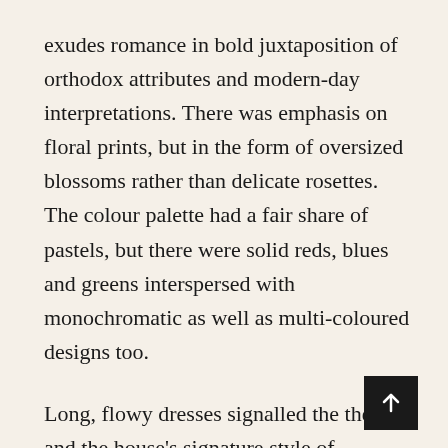exudes romance in bold juxtaposition of orthodox attributes and modern-day interpretations. There was emphasis on floral prints, but in the form of oversized blossoms rather than delicate rosettes. The colour palette had a fair share of pastels, but there were solid reds, blues and greens interspersed with monochromatic as well as multi-coloured designs too.
Long, flowy dresses signalled the theme and the house's signature style of minimalism, while scalloped or ruffled edges and draped layers presented welcome twists. There were also tailored jackets worn over tunics and pants, reflecting the same elegance with a touch of audacity. Accessories included silk headscarves, bold cat-eye sunglasses and handbags in a